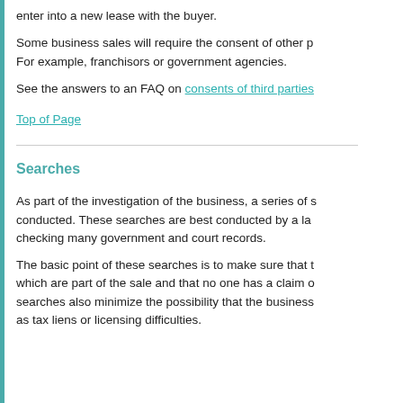enter into a new lease with the buyer.
Some business sales will require the consent of other parties. For example, franchisors or government agencies.
See the answers to an FAQ on consents of third parties
Top of Page
Searches
As part of the investigation of the business, a series of searches should be conducted. These searches are best conducted by a lawyer and involve checking many government and court records.
The basic point of these searches is to make sure that the buyer gets the assets which are part of the sale and that no one has a claim on them. These searches also minimize the possibility that the business has hidden problems, such as tax liens or licensing difficulties.